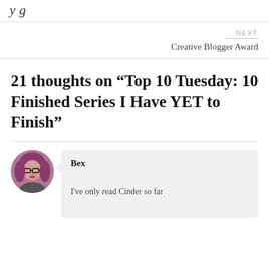y g
NEXT
Creative Blogger Award
21 thoughts on “Top 10 Tuesday: 10 Finished Series I Have YET to Finish”
Bex
I've only read Cinder so far